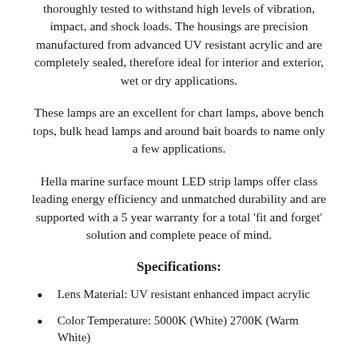thoroughly tested to withstand high levels of vibration, impact, and shock loads. The housings are precision manufactured from advanced UV resistant acrylic and are completely sealed, therefore ideal for interior and exterior, wet or dry applications.
These lamps are an excellent for chart lamps, above bench tops, bulk head lamps and around bait boards to name only a few applications.
Hella marine surface mount LED strip lamps offer class leading energy efficiency and unmatched durability and are supported with a 5 year warranty for a total 'fit and forget' solution and complete peace of mind.
Specifications:
Lens Material: UV resistant enhanced impact acrylic
Color Temperature: 5000K (White) 2700K (Warm White)
Power Consumption: ≤ 3.0W / ≤ 0.25A @ 12V / ≤ 0.16A @